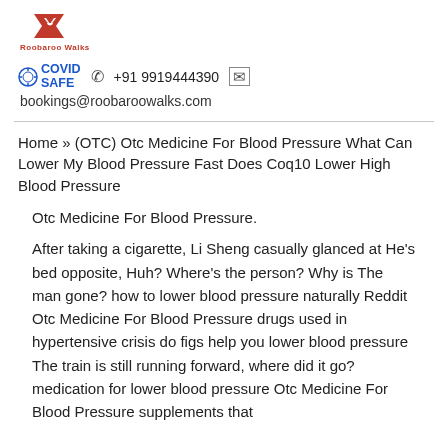[Figure (logo): Roobaroo Walks logo — red angular flag/arrow shape with text 'Roobaroo Walks' in red below]
COVID SAFE  +91 9919444390  bookings@roobaroowalks.com
Home » (OTC) Otc Medicine For Blood Pressure What Can Lower My Blood Pressure Fast Does Coq10 Lower High Blood Pressure
Otc Medicine For Blood Pressure.
After taking a cigarette, Li Sheng casually glanced at He's bed opposite, Huh? Where's the person? Why is The man gone? how to lower blood pressure naturally Reddit Otc Medicine For Blood Pressure drugs used in hypertensive crisis do figs help you lower blood pressure The train is still running forward, where did it go? medication for lower blood pressure Otc Medicine For Blood Pressure supplements that